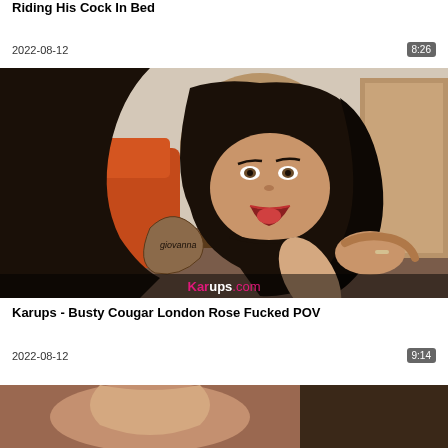Riding His Cock In Bed
2022-08-12
8:26
[Figure (photo): Video thumbnail showing a tattooed woman with long black hair in a POV scene indoors with orange sofa in background. Karups.com watermark visible.]
Karups - Busty Cougar London Rose Fucked POV
2022-08-12
9:14
[Figure (photo): Partial video thumbnail at bottom of page, cropped.]